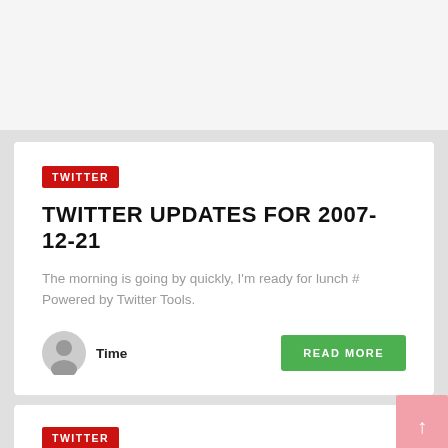TWITTER
TWITTER UPDATES FOR 2007-12-21
The morning is going by quickly, I'm ready for lunch # Powered by Twitter Tools.
Time
TWITTER